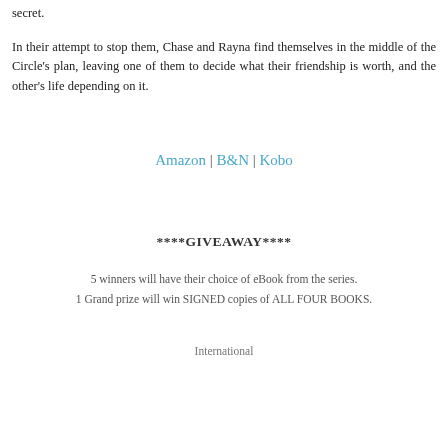secret.
In their attempt to stop them, Chase and Rayna find themselves in the middle of the Circle's plan, leaving one of them to decide what their friendship is worth, and the other's life depending on it.
Amazon | B&N | Kobo
****GIVEAWAY****
5 winners will have their choice of eBook from the series.
1 Grand prize will win SIGNED copies of ALL FOUR BOOKS.
International